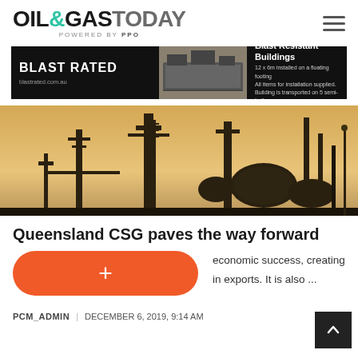OIL&GASTODAY POWERED BY PPO
[Figure (photo): Blast Rated advertisement banner showing industrial container buildings with text 'Blast Resistant Buildings - 12 x 6m installed on a floating footing. All items for installation supplied. Building is transported on 5 semi-trailers. blastrated.com.au']
[Figure (photo): Industrial oil and gas facility silhouette at golden hour, showing pipes, towers, pressure vessels and infrastructure against a warm sky]
Queensland CSG paves the way forward
economic success, creating in exports. It is also ...
PCM_ADMIN | DECEMBER 6, 2019, 9:14 AM